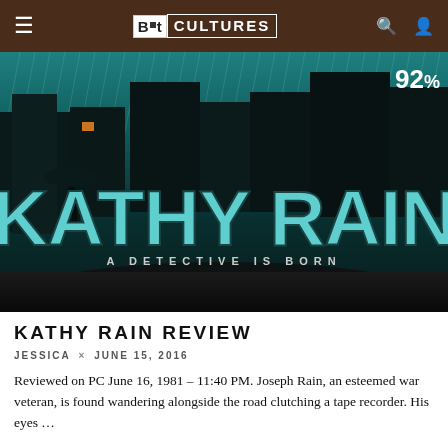Bit Cultures
[Figure (screenshot): Kathy Rain game banner with teal/dark rainy background, silhouette of girl with umbrella, large teal text 'KATHY RAIN' and subtitle 'A DETECTIVE IS BORN'. Score badge showing 92% in top right corner.]
KATHY RAIN REVIEW
JESSICA × JUNE 15, 2016
Reviewed on PC June 16, 1981 – 11:40 PM. Joseph Rain, an esteemed war veteran, is found wandering alongside the road clutching a tape recorder. His eyes …